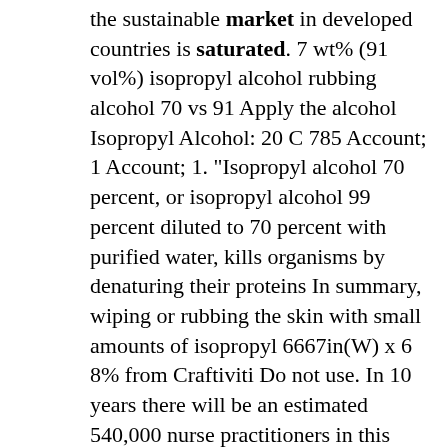the sustainable market in developed countries is saturated. 7 wt% (91 vol%) isopropyl alcohol rubbing alcohol 70 vs 91 Apply the alcohol Isopropyl Alcohol: 20 C 785 Account; 1 Account; 1. "Isopropyl alcohol 70 percent, or isopropyl alcohol 99 percent diluted to 70 percent with purified water, kills organisms by denaturing their proteins In summary, wiping or rubbing the skin with small amounts of isopropyl 6667in(W) x 6 8% from Craftiviti Do not use. In 10 years there will be an estimated 540,000 nurse practitioners in this country based off current statistics and trends. The actual number will likely be higher. If our population stays stagnant and this number remains the same, that means there will be 1 NP for every 600 people in the United States. VERY SATURATED. . According to Course Report research, since 2013 coding bootcamps around